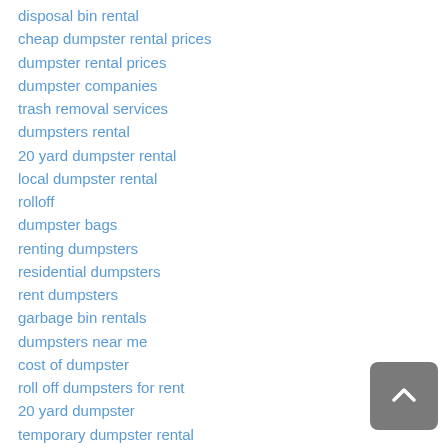disposal bin rental
cheap dumpster rental prices
dumpster rental prices
dumpster companies
trash removal services
dumpsters rental
20 yard dumpster rental
local dumpster rental
rolloff
dumpster bags
renting dumpsters
residential dumpsters
rent dumpsters
garbage bin rentals
dumpsters near me
cost of dumpster
roll off dumpsters for rent
20 yard dumpster
temporary dumpster rental